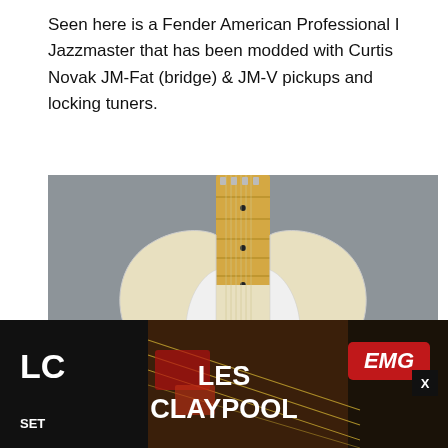Seen here is a Fender American Professional I Jazzmaster that has been modded with Curtis Novak JM-Fat (bridge) & JM-V pickups and locking tuners.
[Figure (photo): A cream/blonde Fender American Professional I Jazzmaster guitar with maple fretboard and white pickguard, photographed from above against a grey carpet background.]
[Figure (photo): Advertisement banner for EMG Les Claypool LC Set pickups, showing hands playing bass guitar strings, with red EMG logo on right and LC SET text on left.]